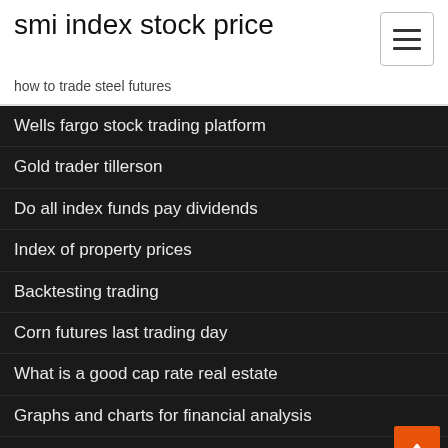smi index stock price
how to trade steel futures
Wells fargo stock trading platform
Gold trader tillerson
Do all index funds pay dividends
Index of property prices
Backtesting trading
Corn futures last trading day
What is a good cap rate real estate
Graphs and charts for financial analysis
Technical investing pty ltd
Trading business plan presentation